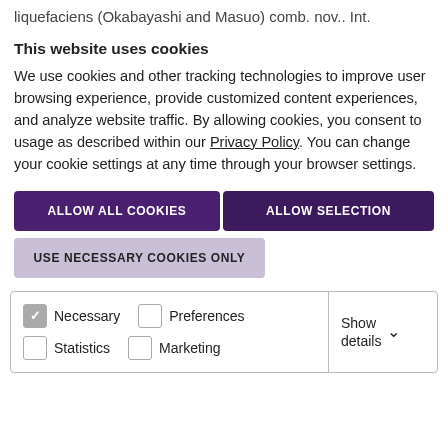liquefaciens (Okabayashi and Masuo) comb. nov.. Int.
This website uses cookies
We use cookies and other tracking technologies to improve user browsing experience, provide customized content experiences, and analyze website traffic. By allowing cookies, you consent to usage as described within our Privacy Policy. You can change your cookie settings at any time through your browser settings.
ALLOW ALL COOKIES
ALLOW SELECTION
USE NECESSARY COOKIES ONLY
| Necessary | Preferences | Show details |
| Statistics | Marketing |  |